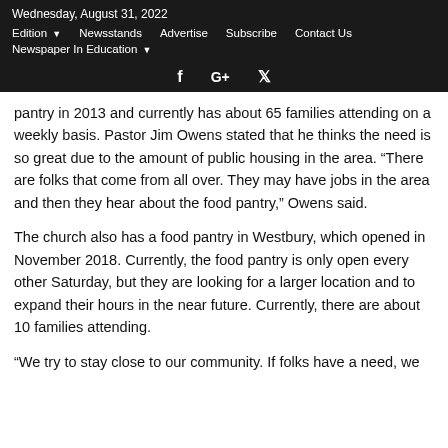Wednesday, August 31, 2022
Edition  Newsstands  Advertise  Subscribe  Contact Us
Newspaper In Education
f  G+  twitter
pantry in 2013 and currently has about 65 families attending on a weekly basis. Pastor Jim Owens stated that he thinks the need is so great due to the amount of public housing in the area. “There are folks that come from all over. They may have jobs in the area and then they hear about the food pantry,” Owens said.
The church also has a food pantry in Westbury, which opened in November 2018. Currently, the food pantry is only open every other Saturday, but they are looking for a larger location and to expand their hours in the near future. Currently, there are about 10 families attending.
“We try to stay close to our community. If folks have a need, we